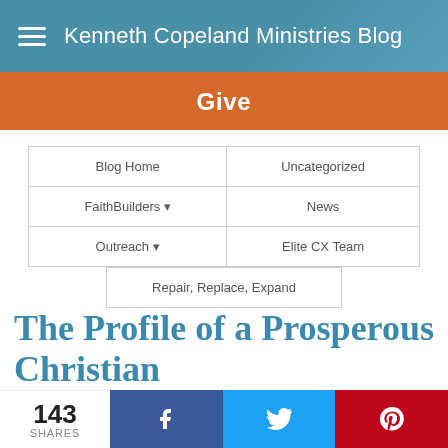Kenneth Copeland Ministries Blog
Give
| Blog Home | Uncategorized |
| FaithBuilders ▼ | News |
| Outreach ▼ | Elite CX Team |
| Repair, Replace, Expand |  |
The Profile of a Prosperous Christian
June 19, 2018
143 SHARES